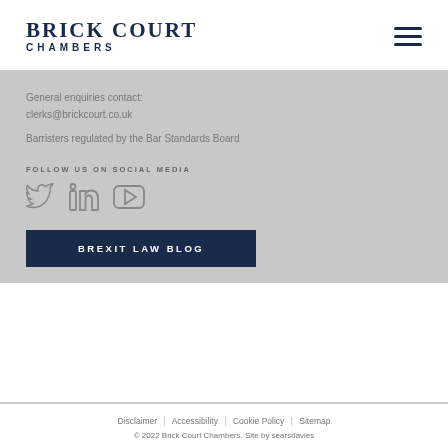BRICK COURT CHAMBERS
General enquiries contact:
clerks@brickcourt.co.uk
Barristers regulated by the Bar Standards Board
FOLLOW US ON SOCIAL MEDIA
[Figure (other): Social media icons: Twitter, LinkedIn, YouTube]
BREXIT LAW BLOG
Disclaimer | Accessibility | Cookie Policy | Sitemap
© 2022 Brick Court Chambers. Site by searsdavies